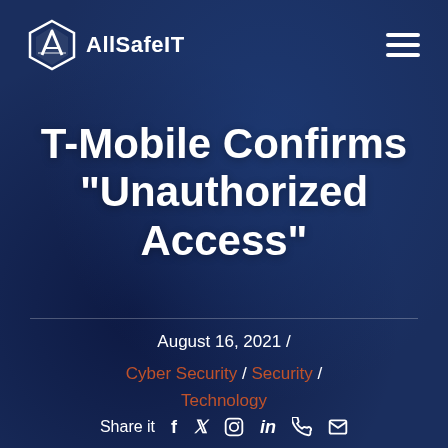AllSafeIT
T-Mobile Confirms "Unauthorized Access"
August 16, 2021 / Cyber Security / Security / Technology
Share it